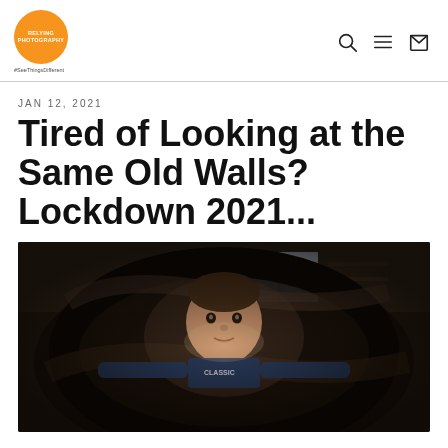Relying Photography #SeeThingsDifferent
JAN 12, 2021
Tired of Looking at the Same Old Walls? Lockdown 2021...
[Figure (photo): Child looking up through a dark circular tunnel or tube, photographed from inside the tube with a wide-angle/fisheye lens, interior home background visible]